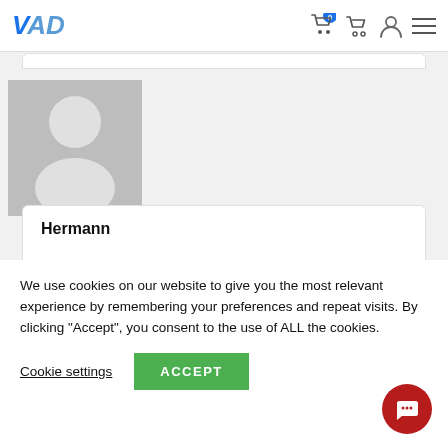VAD logo, cart icon with badge 0, cart icon, user icon, menu icon
[Figure (illustration): Grey placeholder avatar/profile image with silhouette of a person on grey background]
Hermann
We use cookies on our website to give you the most relevant experience by remembering your preferences and repeat visits. By clicking “Accept”, you consent to the use of ALL the cookies.
Cookie settings    ACCEPT